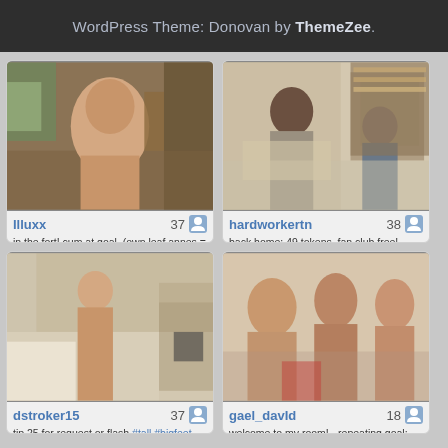WordPress Theme: Donovan by ThemeZee.
[Figure (screenshot): Webcam stream thumbnail for Illuxx]
Illuxx 37
in the fort! cum at goal. (own leaf annes = @illuxx) (blue
1.4 hrs, 2500 viewers
[Figure (screenshot): Webcam stream thumbnail for hardworkertn]
hardworkertn 38
back home: 49 tokens, fan club free!
38 mins, 1525 viewers
[Figure (screenshot): Webcam stream thumbnail for dstroker15]
dstroker15 37
tip 25 for request or flash #tall #bigfeet #muscle #bodybuilder
1.0 hrs, 2052 viewers
[Figure (screenshot): Webcam stream thumbnail for gael_david]
gael_davId 18
welcome to my room! - repeating goal: huge cum show! - #cum
1.5 hrs, 2555 viewers